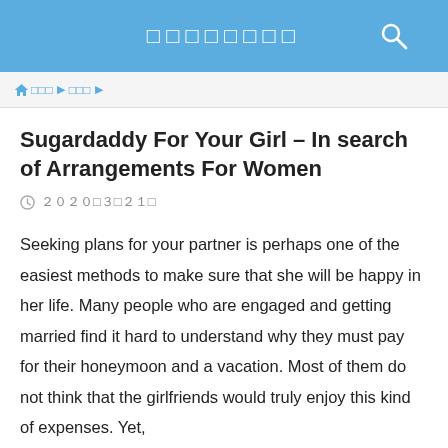□□□□□□□□
🏠 □□□ ▶ □□□ ▶
Sugardaddy For Your Girl – In search of Arrangements For Women
2020□3□21□
Seeking plans for your partner is perhaps one of the easiest methods to make sure that she will be happy in her life. Many people who are engaged and getting married find it hard to understand why they must pay for their honeymoon and a vacation. Most of them do not think that the girlfriends would truly enjoy this kind of expenses. Yet,